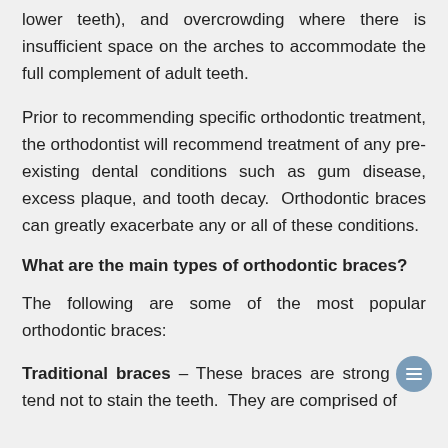lower teeth), and overcrowding where there is insufficient space on the arches to accommodate the full complement of adult teeth.
Prior to recommending specific orthodontic treatment, the orthodontist will recommend treatment of any pre-existing dental conditions such as gum disease, excess plaque, and tooth decay. Orthodontic braces can greatly exacerbate any or all of these conditions.
What are the main types of orthodontic braces?
The following are some of the most popular orthodontic braces:
Traditional braces – These braces are strong and tend not to stain the teeth. They are comprised of